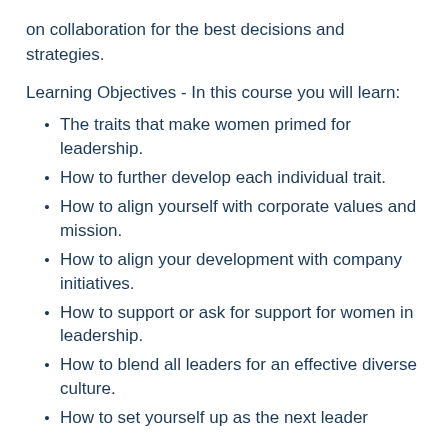on collaboration for the best decisions and strategies.
Learning Objectives - In this course you will learn:
The traits that make women primed for leadership.
How to further develop each individual trait.
How to align yourself with corporate values and mission.
How to align your development with company initiatives.
How to support or ask for support for women in leadership.
How to blend all leaders for an effective diverse culture.
How to set yourself up as the next leader